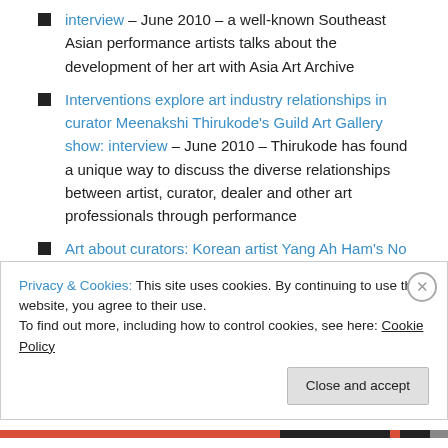interview – June 2010 – a well-known Southeast Asian performance artists talks about the development of her art with Asia Art Archive
Interventions explore art industry relationships in curator Meenakshi Thirukode's Guild Art Gallery show: interview – June 2010 – Thirukode has found a unique way to discuss the diverse relationships between artist, curator, dealer and other art professionals through performance
Art about curators: Korean artist Yang Ah Ham's No Nonsense solo show – April 2010 – a brief post
Privacy & Cookies: This site uses cookies. By continuing to use this website, you agree to their use. To find out more, including how to control cookies, see here: Cookie Policy
Close and accept